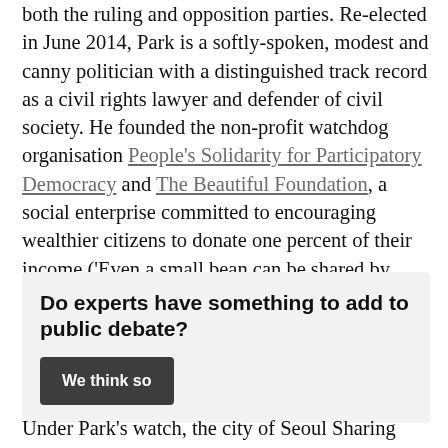both the ruling and opposition parties. Re-elected in June 2014, Park is a softly-spoken, modest and canny politician with a distinguished track record as a civil rights lawyer and defender of civil society. He founded the non-profit watchdog organisation People's Solidarity for Participatory Democracy and The Beautiful Foundation, a social enterprise committed to encouraging wealthier citizens to donate one percent of their income ('Even a small bean can be shared by two') in support of poorer citizens at home and abroad.
Do experts have something to add to public debate?
We think so
Under Park's watch, the city of Seoul Sharing City